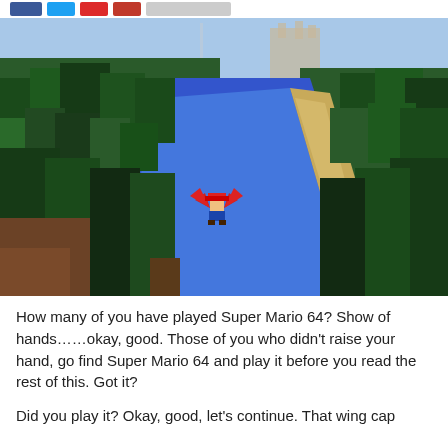[Social share buttons: Facebook, Twitter, Pinterest, Google+, share bar]
[Figure (screenshot): Minecraft screenshot showing a bird's-eye view of a blocky forest landscape with a blue river winding through, and a Mario character wearing a wing cap flying in the center of the frame. Tall pixelated trees in dark green fill both sides, with sandy shores by the river. A castle structure is faintly visible in the background.]
How many of you have played Super Mario 64? Show of hands……okay, good. Those of you who didn't raise your hand, go find Super Mario 64 and play it before you read the rest of this. Got it?
Did you play it? Okay, good, let's continue. That wing cap